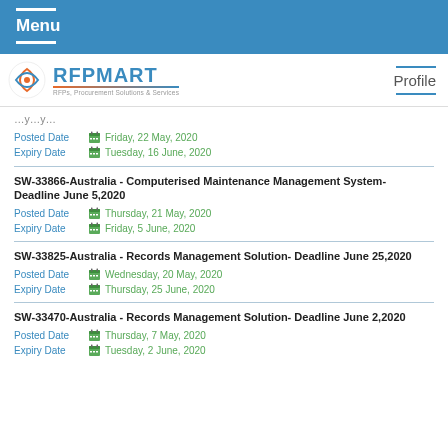Menu
[Figure (logo): RFPMART logo with circular icon and tagline 'RFPs, Procurement Solutions & Services']
Profile
SW-33866-Australia - Computerised Maintenance Management System- Deadline June 5,2020
Posted Date: Thursday, 21 May, 2020
Expiry Date: Friday, 5 June, 2020
SW-33825-Australia - Records Management Solution- Deadline June 25,2020
Posted Date: Wednesday, 20 May, 2020
Expiry Date: Thursday, 25 June, 2020
SW-33470-Australia - Records Management Solution- Deadline June 2,2020
Posted Date: Thursday, 7 May, 2020
Expiry Date: Tuesday, 2 June, 2020